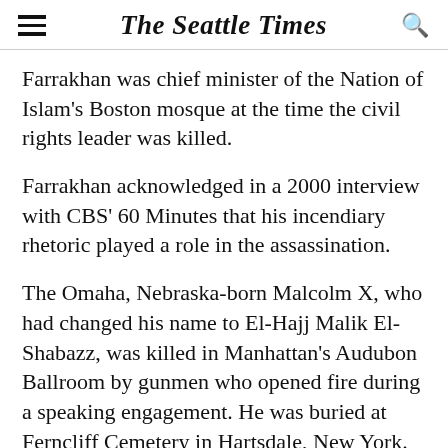The Seattle Times
Farrakhan was chief minister of the Nation of Islam's Boston mosque at the time the civil rights leader was killed.
Farrakhan acknowledged in a 2000 interview with CBS' 60 Minutes that his incendiary rhetoric played a role in the assassination.
The Omaha, Nebraska-born Malcolm X, who had changed his name to El-Hajj Malik El-Shabazz, was killed in Manhattan's Audubon Ballroom by gunmen who opened fire during a speaking engagement. He was buried at Ferncliff Cemetery in Hartsdale, New York.